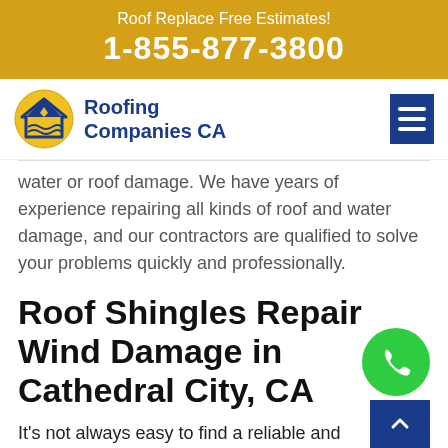Roof Replace Free Estimates! 1-855-877-3800
[Figure (logo): Roofing Companies CA logo with house/roof icon]
water or roof damage. We have years of experience repairing all kinds of roof and water damage, and our contractors are qualified to solve your problems quickly and professionally.
Roof Shingles Repair Wind Damage in Cathedral City, CA
It's not always easy to find a reliable and professional roofing company that offers roof shingles repair wind damage in Cathedral City, CA.